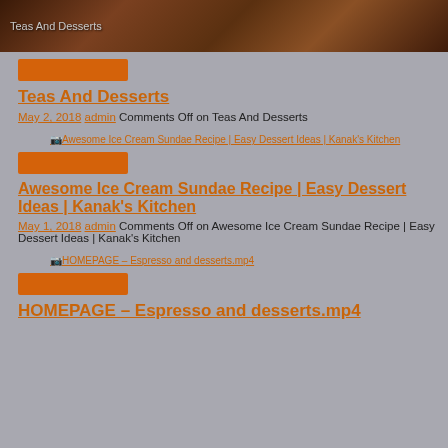[Figure (photo): Header image with coffee beans background and 'Teas And Desserts' text link]
[Figure (other): Orange decorative bar]
Teas And Desserts
May 2, 2018 admin Comments Off on Teas And Desserts
[Figure (other): Thumbnail image link: Awesome Ice Cream Sundae Recipe | Easy Dessert Ideas | Kanak's Kitchen]
[Figure (other): Orange decorative bar]
Awesome Ice Cream Sundae Recipe | Easy Dessert Ideas | Kanak's Kitchen
May 1, 2018 admin Comments Off on Awesome Ice Cream Sundae Recipe | Easy Dessert Ideas | Kanak's Kitchen
[Figure (other): Thumbnail image link: HOMEPAGE – Espresso and desserts.mp4]
[Figure (other): Orange decorative bar]
HOMEPAGE – Espresso and desserts.mp4